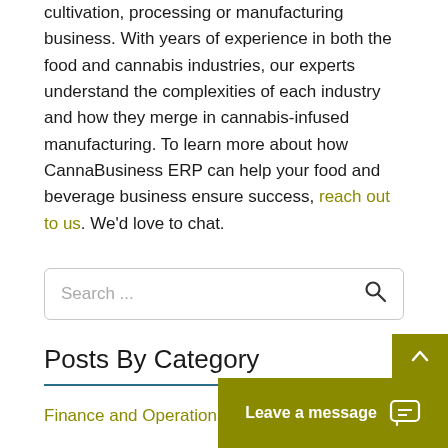cultivation, processing or manufacturing business. With years of experience in both the food and cannabis industries, our experts understand the complexities of each industry and how they merge in cannabis-infused manufacturing. To learn more about how CannaBusiness ERP can help your food and beverage business ensure success, reach out to us. We'd love to chat.
[Figure (other): Search bar with placeholder text 'Search ...' and a search icon on the right]
Posts By Category
Finance and Operations
[Figure (other): Chat widget showing 'Leave a message' button with chat icon, and a scroll-up arrow button above it]